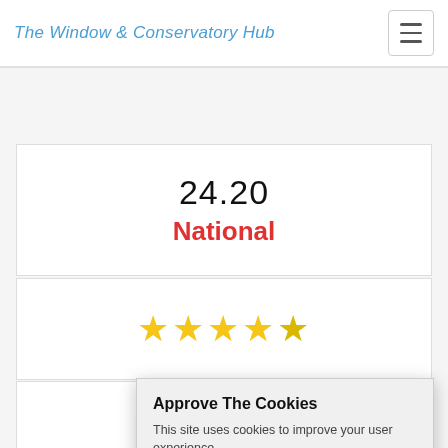The Window & Conservatory Hub
24.20
National
[Figure (other): Four and a half gold star rating]
Get a Quote
[Figure (screenshot): Partial checkmark icon visible in second card]
[Figure (logo): ACADEMY badge with red background and gold text]
Approve The Cookies
This site uses cookies to improve your user experience.
Accept  Decline
Cookie policy